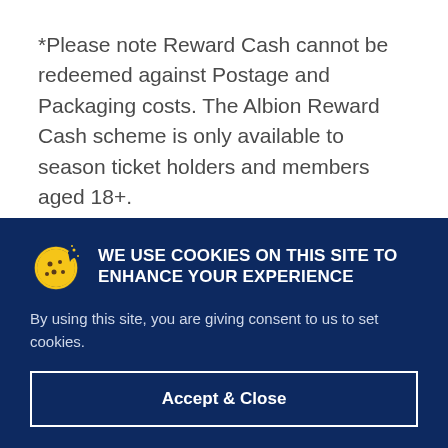*Please note Reward Cash cannot be redeemed against Postage and Packaging costs. The Albion Reward Cash scheme is only available to season ticket holders and members aged 18+.
WE USE COOKIES ON THIS SITE TO ENHANCE YOUR EXPERIENCE
By using this site, you are giving consent to us to set cookies.
Accept & Close